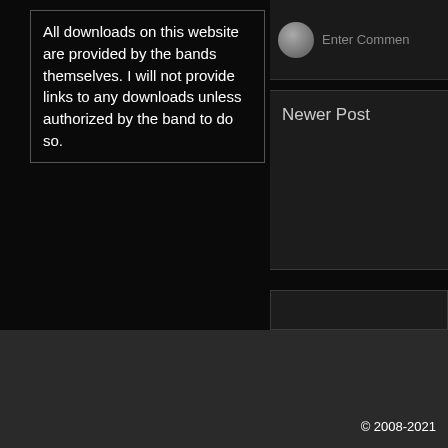All downloads on this website are provided by the bands themselves. I will not provide links to any downloads unless authorized by the band to do so.
Enter Comment
Newer Post
© 2008-2021